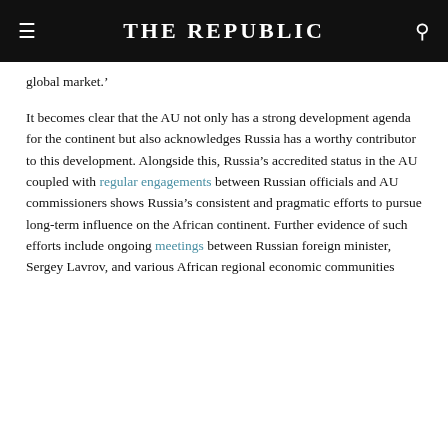THE REPUBLIC
global market.'
It becomes clear that the AU not only has a strong development agenda for the continent but also acknowledges Russia has a worthy contributor to this development. Alongside this, Russia's accredited status in the AU coupled with regular engagements between Russian officials and AU commissioners shows Russia's consistent and pragmatic efforts to pursue long-term influence on the African continent. Further evidence of such efforts include ongoing meetings between Russian foreign minister, Sergey Lavrov, and various African regional economic communities